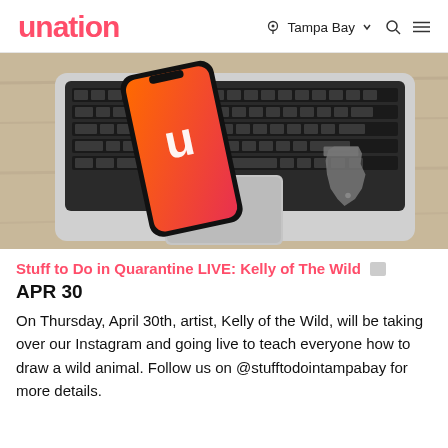unation | Tampa Bay
[Figure (photo): Photo of a MacBook laptop with a smartphone placed on top of the keyboard. The phone has an orange-red screen with a white 'u' logo. The laptop has a Florida state silhouette sticker on the palm rest area. The scene is set on a light wood surface.]
Stuff to Do in Quarantine LIVE: Kelly of The Wild | APR 30
On Thursday, April 30th, artist, Kelly of the Wild, will be taking over our Instagram and going live to teach everyone how to draw a wild animal. Follow us on @stufftodointampabay for more details.